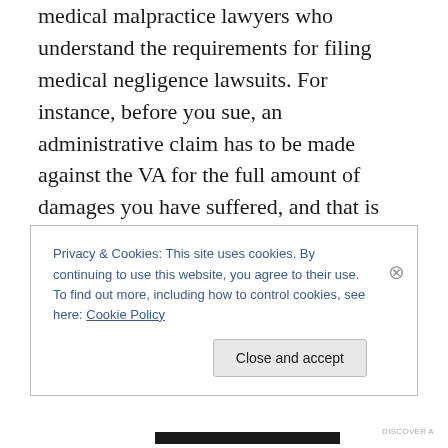medical malpractice lawyers who understand the requirements for filing medical negligence lawsuits. For instance, before you sue, an administrative claim has to be made against the VA for the full amount of damages you have suffered, and that is difficult and risky to determine. Once you have filed your administrative claim, you won't be able to ask for more damages—EVER AGAIN–unless you have evidence that proves additional damages are warranted and you didn't have knowledge of them prior to filing your claim. An experienced medical malpractice lawyer can help determine how much in
Privacy & Cookies: This site uses cookies. By continuing to use this website, you agree to their use.
To find out more, including how to control cookies, see here: Cookie Policy
Close and accept